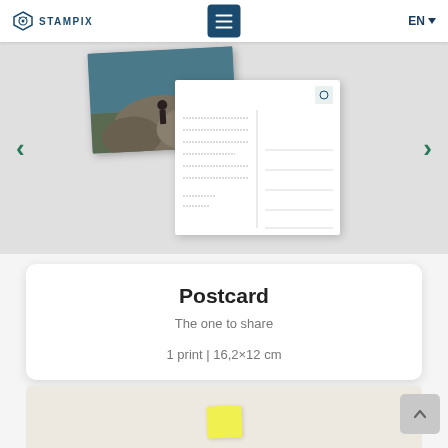[Figure (screenshot): Stampix website navigation bar with logo on left, hamburger menu button in center (dark blue), and EN language selector on right]
[Figure (photo): Carousel showing a postcard product: front shows a landscape photo of a person sitting on rocks with mountains, back shows handwritten message area and address lines]
Postcard
The one to share
1 print | 16,2×12 cm
[Figure (photo): Bottom of another product card showing a yellow sticky note on a light beige background]
[Figure (screenshot): Grey back-to-top button with upward chevron arrow in bottom right corner]